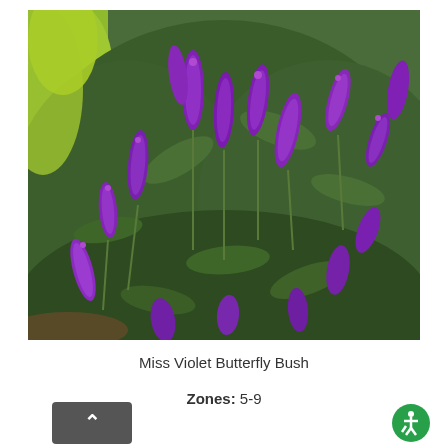[Figure (photo): Butterfly bush (Buddleja) with numerous purple flower spikes and green foliage, photographed outdoors with yellow-green shrub visible in background on left.]
Miss Violet Butterfly Bush
Zones: 5-9